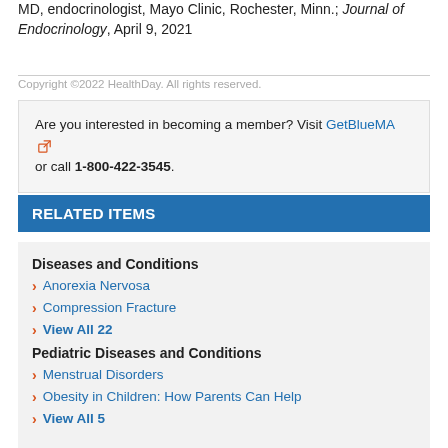MD, endocrinologist, Mayo Clinic, Rochester, Minn.; Journal of Endocrinology, April 9, 2021
Copyright ©2022 HealthDay. All rights reserved.
Are you interested in becoming a member? Visit GetBlueMA or call 1-800-422-3545.
RELATED ITEMS
Diseases and Conditions
Anorexia Nervosa
Compression Fracture
View All 22
Pediatric Diseases and Conditions
Menstrual Disorders
Obesity in Children: How Parents Can Help
View All 5